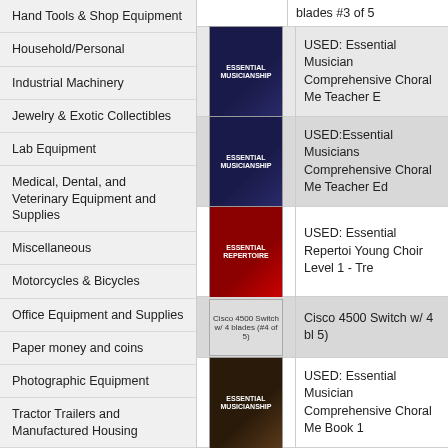Hand Tools & Shop Equipment
Household/Personal
Industrial Machinery
Jewelry & Exotic Collectibles
Lab Equipment
Medical, Dental, and Veterinary Equipment and Supplies
Miscellaneous
Motorcycles & Bicycles
Office Equipment and Supplies
Paper money and coins
Photographic Equipment
Tractor Trailers and Manufactured Housing
Vehicles
blades #3 of 5
[Figure (photo): Essential Musicianship book cover - dark blue]
USED: Essential Musicianship Comprehensive Choral Me Teacher E
[Figure (photo): Essential Musicianship book cover - dark blue]
USED:Essential Musicianship Comprehensive Choral Me Teacher Ed
[Figure (photo): Essential Repertoire book cover - red]
USED: Essential Repertoire Young Choir Level 1 - Tre
[Figure (photo): Cisco 4500 Switch w/ 4 blades (#4 of 5)]
Cisco 4500 Switch w/ 4 bl 5)
[Figure (photo): Essential Musicianship book cover - dark]
USED: Essential Musicianship Comprehensive Choral Me Book 1